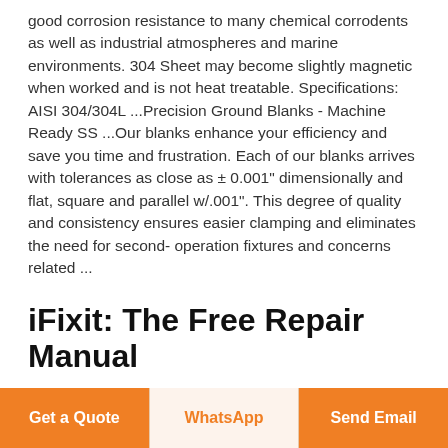good corrosion resistance to many chemical corrodents as well as industrial atmospheres and marine environments. 304 Sheet may become slightly magnetic when worked and is not heat treatable. Specifications: AISI 304/304L ...Precision Ground Blanks - Machine Ready SS ...Our blanks enhance your efficiency and save you time and frustration. Each of our blanks arrives with tolerances as close as ± 0.001" dimensionally and flat, square and parallel w/.001". This degree of quality and consistency ensures easier clamping and eliminates the need for second- operation fixtures and concerns related ...
iFixit: The Free Repair Manual
iFixit is a global community of people helping each other repair things. Let's fix the world, one device at a time. Troubleshoot with experts in the Answers forum—and build
Get a Quote | WhatsApp | Send Email